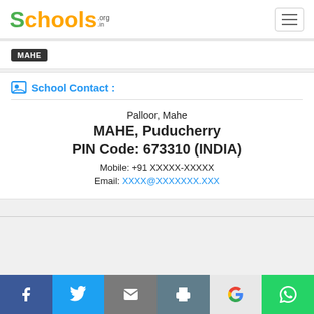Schools.org.in
MAHE
School Contact :
Palloor, Mahe
MAHE, Puducherry
PIN Code: 673310 (INDIA)
Mobile: +91 XXXXX-XXXXX
Email: XXXX@XXXXXXX.XXX
Facebook Twitter Email Print Google WhatsApp